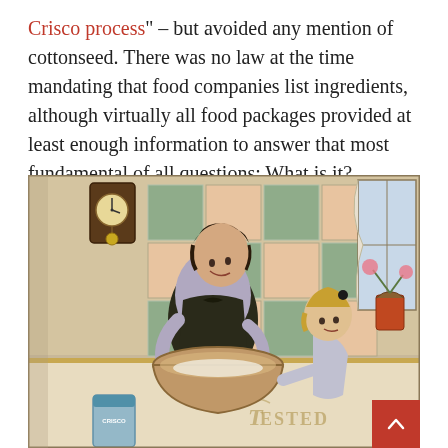"Crisco process" – but avoided any mention of cottonseed. There was no law at the time mandating that food companies list ingredients, although virtually all food packages provided at least enough information to answer that most fundamental of all questions: What is it?
[Figure (illustration): Vintage color illustration of a woman in a dark apron mixing ingredients in a large bowl at a kitchen table, with a young blonde girl watching. A clock hangs on a tiled wall in the background, and a potted plant sits on the windowsill. A can of Crisco and text reading 'TESTED' are partially visible at the bottom.]